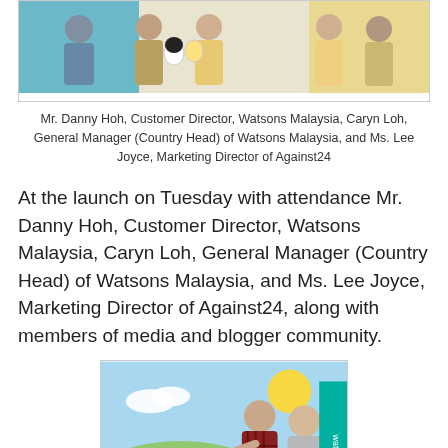[Figure (photo): Photo of Mr. Danny Hoh, Caryn Loh, and Ms. Lee Joyce at a Watsons event, holding branded plush/bottle products]
Mr. Danny Hoh, Customer Director, Watsons Malaysia, Caryn Loh, General Manager (Country Head) of Watsons Malaysia, and Ms. Lee Joyce, Marketing Director of Against24
At the launch on Tuesday with attendance Mr. Danny Hoh, Customer Director, Watsons Malaysia, Caryn Loh, General Manager (Country Head) of Watsons Malaysia, and Ms. Lee Joyce, Marketing Director of Against24, along with members of media and blogger community.
[Figure (photo): Two women doing duck fishing activities at a Watsons launch event, colorful playful background with ducks]
I'm having fun with the duck fishing activities at the launch
Fun time at launch, go get to play duck fishing, with 2